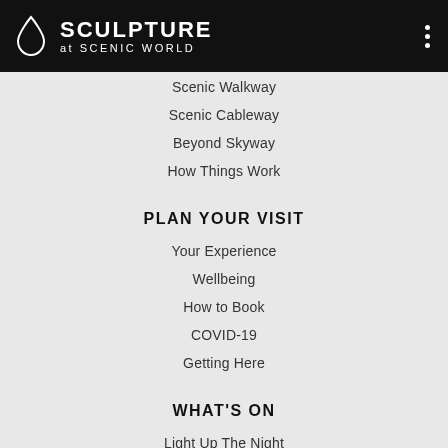SCULPTURE at SCENIC WORLD
Scenic Walkway
Scenic Cableway
Beyond Skyway
How Things Work
PLAN YOUR VISIT
Your Experience
Wellbeing
How to Book
COVID-19
Getting Here
WHAT'S ON
Light Up The Night
Blog
INFORMATION
Accessibility
Venue Hire
Trade Bookings
Careers
Newsroom